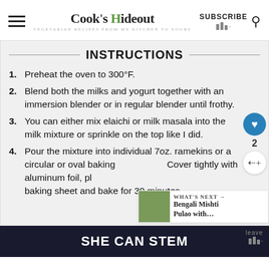Cook's Hideout — VEGETARIAN RECIPES FROM MY KITCHEN TO YOURS
INSTRUCTIONS
Preheat the oven to 300°F.
Blend both the milks and yogurt together with an immersion blender or in regular blender until frothy.
You can either mix elaichi or milk masala into the milk mixture or sprinkle on the top like I did.
Pour the mixture into individual 7oz. ramekins or a circular or oval baking dish. Cover tightly with aluminum foil, place on a baking sheet and bake for 30 minutes.
SHE CAN STEM